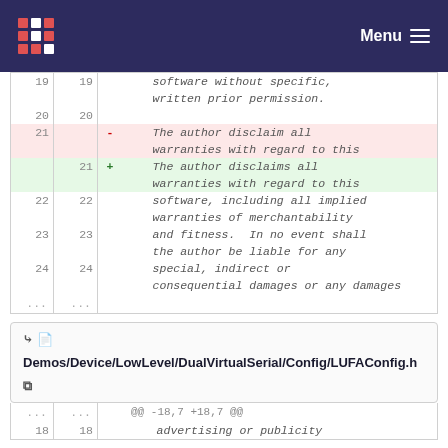Menu
| old | new | marker | code |
| --- | --- | --- | --- |
| 19 | 19 |  | software without specific,
written prior permission. |
| 20 | 20 |  |  |
| 21 |  | - | The author disclaim all warranties with regard to this |
|  | 21 | + | The author disclaims all warranties with regard to this |
| 22 | 22 |  | software, including all implied warranties of merchantability |
| 23 | 23 |  | and fitness.  In no event shall the author be liable for any |
| 24 | 24 |  | special, indirect or consequential damages or any damages |
| ... | ... |  |  |
Demos/Device/LowLevel/DualVirtualSerial/Config/LUFAConfig.h
| old | new | marker | code |
| --- | --- | --- | --- |
| ... | ... |  | @@ -18,7 +18,7 @@ |
| 18 | 18 |  | advertising or publicity |